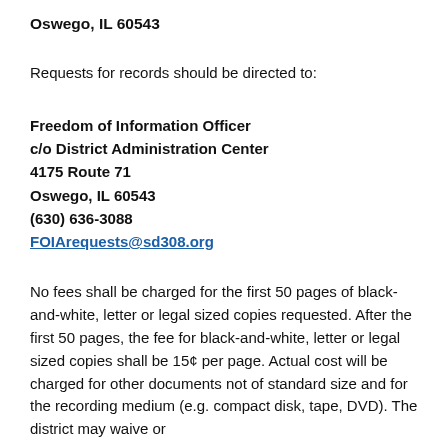Oswego, IL 60543
Requests for records should be directed to:
Freedom of Information Officer
c/o District Administration Center
4175 Route 71
Oswego, IL 60543
(630) 636-3088
FOIArequests@sd308.org
No fees shall be charged for the first 50 pages of black-and-white, letter or legal sized copies requested. After the first 50 pages, the fee for black-and-white, letter or legal sized copies shall be 15¢ per page. Actual cost will be charged for other documents not of standard size and for the recording medium (e.g. compact disk, tape, DVD). The district may waive or